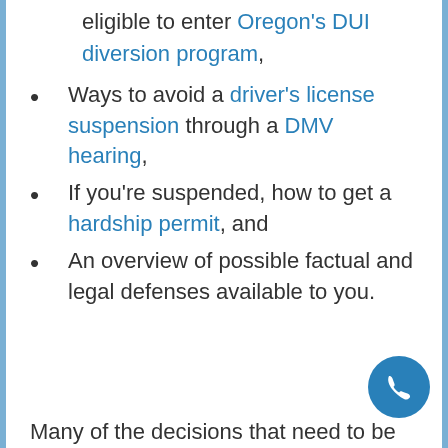eligible to enter Oregon's DUI diversion program,
Ways to avoid a driver's license suspension through a DMV hearing,
If you're suspended, how to get a hardship permit, and
An overview of possible factual and legal defenses available to you.
Many of the decisions that need to be